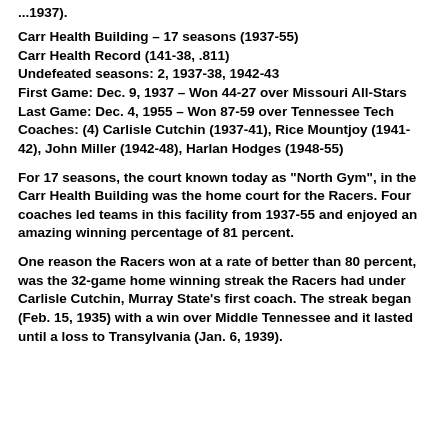...1937).
Carr Health Building – 17 seasons (1937-55)
Carr Health Record (141-38, .811)
Undefeated seasons: 2, 1937-38, 1942-43
First Game: Dec. 9, 1937 – Won 44-27 over Missouri All-Stars
Last Game: Dec. 4, 1955 – Won 87-59 over Tennessee Tech
Coaches: (4) Carlisle Cutchin (1937-41), Rice Mountjoy (1941-42), John Miller (1942-48), Harlan Hodges (1948-55)
For 17 seasons, the court known today as "North Gym", in the Carr Health Building was the home court for the Racers. Four coaches led teams in this facility from 1937-55 and enjoyed an amazing winning percentage of 81 percent.
One reason the Racers won at a rate of better than 80 percent, was the 32-game home winning streak the Racers had under Carlisle Cutchin, Murray State's first coach. The streak began (Feb. 15, 1935) with a win over Middle Tennessee and it lasted until a loss to Transylvania (Jan. 6, 1939).